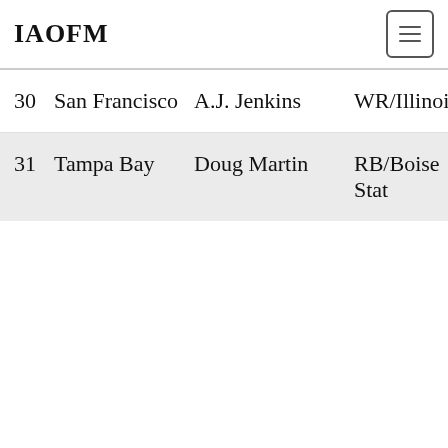IAOFM
| # | Team | Player | Position |
| --- | --- | --- | --- |
| 30 | San Francisco | A.J. Jenkins | WR/Illinois |
| 31 | Tampa Bay | Doug Martin | RB/Boise Stat |